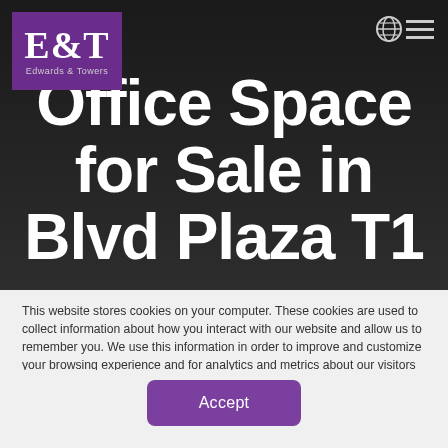[Figure (logo): E&T Edwards & Towers logo — white serif E&T on purple background with company name below]
Office Space for Sale in Blvd Plaza T1
This website stores cookies on your computer. These cookies are used to collect information about how you interact with our website and allow us to remember you. We use this information in order to improve and customize your browsing experience and for analytics and metrics about our visitors both on this website and other media. To find out more about the cookies we use, see our Privacy Policy
Accept